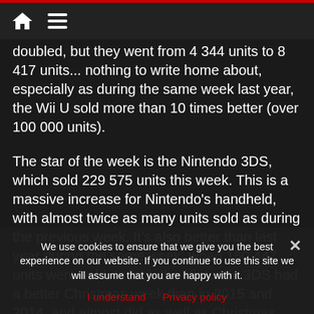Home / Menu navigation bar
doubled, but they went from 4 344 units to 8 417 units... nothing to write home about, especially as during the same week last year, the Wii U sold more than 10 times better (over 100 000 units).
The star of the week is the Nintendo 3DS, which sold 229 575 units this week. This is a massive increase for Nintendo’s handheld, with almost twice as many units sold as during the previous week. It’s also better than last year during the same week, when 160 447 units were sold. In fact, the Nintendo 3DS had a better Christmas week than in 2015 and 2014, and almost did as well as Christmas 2013 (232 000 units).
We use cookies to ensure that we give you the best experience on our website. If you continue to use this site we will assume that you are happy with it.
I understand   Privacy policy